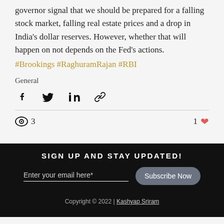governor signal that we should be prepared for a falling stock market, falling real estate prices and a drop in India's dollar reserves. However, whether that will happen on not depends on the Fed's actions.
#Brookings #RaghuramRajan #RBI
General
[Figure (infographic): Social share icons: Facebook, Twitter, LinkedIn, and link/chain icon]
3 views, 1 like
SIGN UP AND STAY UPDATED! Enter your email here* Subscribe Now Copyright © 2022 | Kashyap Sriram